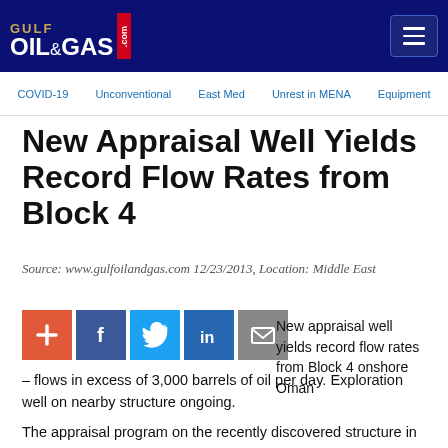[Figure (logo): Gulf Oil & Gas .com logo on dark navy background with hamburger menu icon]
COVID-19   Unconventional   East Med   Unrest in MENA   Equipment
New Appraisal Well Yields Record Flow Rates from Block 4
Source: www.gulfoilandgas.com 12/23/2013, Location: Middle East
[Figure (infographic): Social sharing icons: add (+), Facebook, Twitter, LinkedIn, Email]
New appraisal well yields record flow rates from Block 4 onshore Oman – flows in excess of 3,000 barrels of oil per day. Exploration well on nearby structure ongoing.
The appraisal program on the recently discovered structure in Block 4 onshore the Sultanate of Oman (B4EW4) continues with